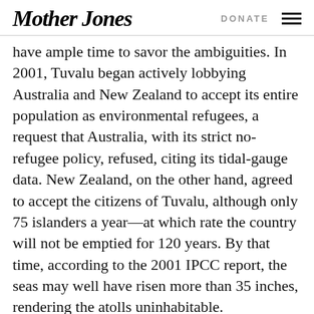Mother Jones | DONATE
have ample time to savor the ambiguities. In 2001, Tuvalu began actively lobbying Australia and New Zealand to accept its entire population as environmental refugees, a request that Australia, with its strict no-refugee policy, refused, citing its tidal-gauge data. New Zealand, on the other hand, agreed to accept the citizens of Tuvalu, although only 75 islanders a year—at which rate the country will not be emptied for 120 years. By that time, according to the 2001 IPCC report, the seas may well have risen more than 35 inches, rendering the atolls uninhabitable.
Yet, paradoxically, Funafuti appears to be building like a nation with a long-term future. A three-story